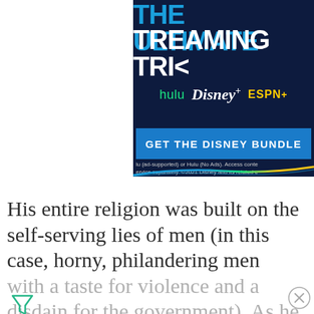[Figure (screenshot): Disney Bundle advertisement showing Hulu, Disney+, and ESPN+ logos on dark navy background with 'GET THE DISNEY BUNDLE' button and fine print text. Partially cropped on left side.]
His entire religion was built on the self-serving lies of men (in this case, horny, philandering men with a taste for violence and a disdain for the government). As he continues to investigate